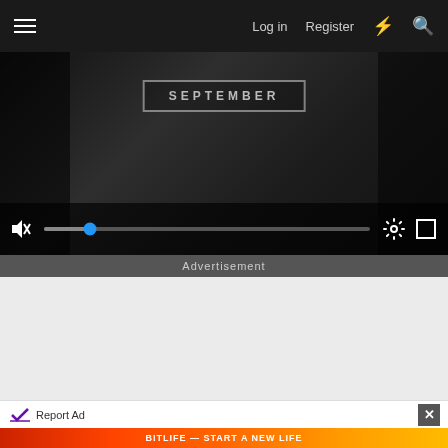Log in  Register
[Figure (screenshot): Video player showing text 'SEPTEMBER' with video controls including mute icon, blue progress dot on slider, settings gear icon, and fullscreen expand icon]
Advertisement
[Figure (photo): Advertisement content area (blank/loading)]
Report Ad
[Figure (photo): BitLife advertisement banner with 'FAIL' text, cartoon character, flames, and 'START A NEW LIFE' text]